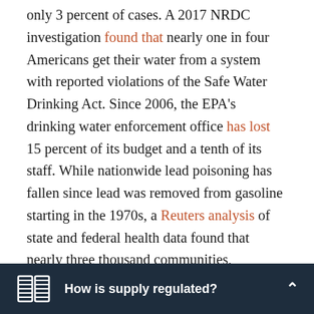only 3 percent of cases. A 2017 NRDC investigation found that nearly one in four Americans get their water from a system with reported violations of the Safe Water Drinking Act. Since 2006, the EPA's drinking water enforcement office has lost 15 percent of its budget and a tenth of its staff. While nationwide lead poisoning has fallen since lead was removed from gasoline starting in the 1970s, a Reuters analysis of state and federal health data found that nearly three thousand communities, accounting for over ten million residents, had lead poisoning rates of over 10 percent between 2005 and 2015—more than twice the level found in Flint.
How is supply regulated?